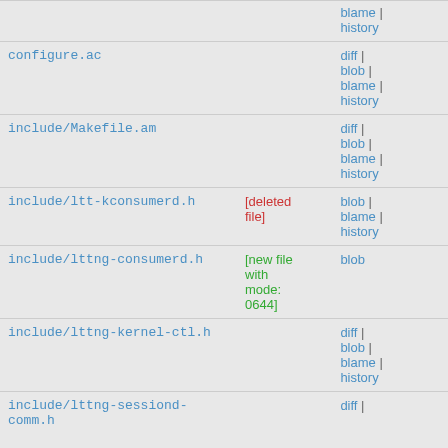| filename | status | links |
| --- | --- | --- |
|  |  | blame | history |
| configure.ac |  | diff | blob | blame | history |
| include/Makefile.am |  | diff | blob | blame | history |
| include/ltt-kconsumerd.h | [deleted file] | blob | blame | history |
| include/lttng-consumerd.h | [new file with mode: 0644] | blob |
| include/lttng-kernel-ctl.h |  | diff | blob | blame | history |
| include/lttng-sessiond-comm.h |  | diff | |